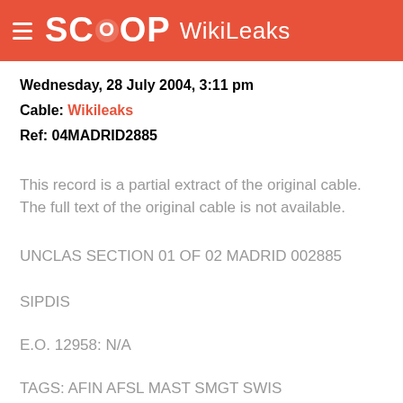SCOOP WikiLeaks
Wednesday, 28 July 2004, 3:11 pm
Cable: Wikileaks
Ref: 04MADRID2885
This record is a partial extract of the original cable. The full text of the original cable is not available.
UNCLAS SECTION 01 OF 02 MADRID 002885
SIPDIS
E.O. 12958: N/A
TAGS: AFIN AFSL MAST SMGT SWIS